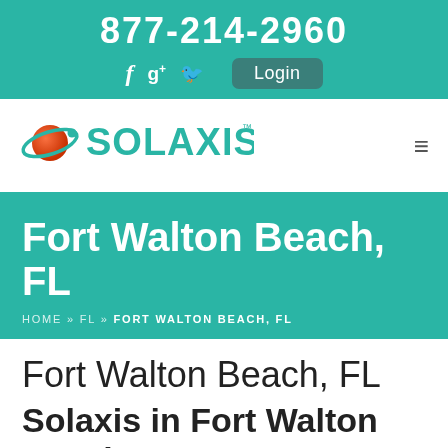877-214-2960
[Figure (logo): Solaxis company logo with planet/orbit graphic in teal and red-orange]
Fort Walton Beach, FL
HOME » FL » FORT WALTON BEACH, FL
Fort Walton Beach, FL
Solaxis in Fort Walton Beach, FL